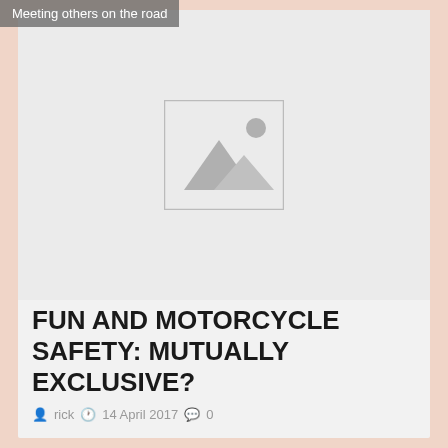Meeting others on the road
[Figure (photo): Placeholder image with mountain and sun icon on light grey background]
FUN AND MOTORCYCLE SAFETY: MUTUALLY EXCLUSIVE?
rick  14 April 2017  0